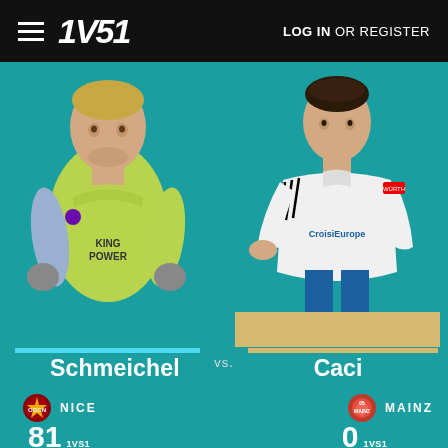1VS1 — LOG IN OR REGISTER
[Figure (photo): Kasper Schmeichel in yellow-green Leicester City goalkeeper kit, standing on teal background]
[Figure (photo): Caci in white CroisiEurope kit, leaning forward on teal/yellow background]
Schmeichel vs. Caci
NICE — 81 1VS1 INDEX
MAINZ — 0 1VS1 INDEX